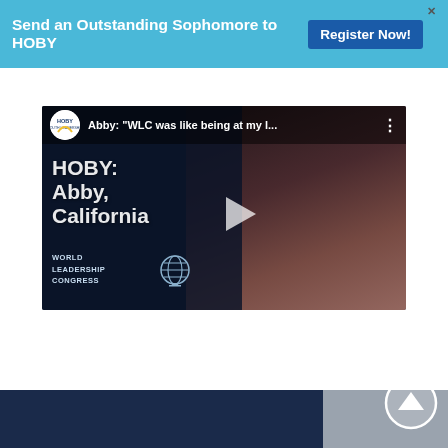Send an Outstanding Sophomore to HOBY
Register Now!
[Figure (screenshot): YouTube video thumbnail showing HOBY World Leadership Congress testimonial. Title bar reads: Abby: "WLC was like being at my l...". Video shows text overlay: HOBY: Abby, California and WORLD LEADERSHIP CONGRESS with a globe icon. A woman is visible smiling on the right side. A play button is centered on the video.]
[Figure (other): Scroll-to-top button circle with upward arrow on gray background]